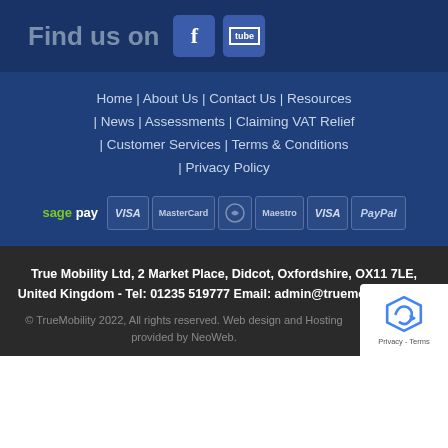Find us on [Facebook] [YouTube]
Home | About Us | Contact Us | Resources | News | Assessments | Claiming VAT Relief | Customer Services | Terms & Conditions | Privacy Policy
[Figure (logo): Payment method logos: sage pay, VISA, MasterCard, Maestro, VISA, PayPal]
True Mobility Ltd, 2 Market Place, Didcot, Oxfordshire, OX11 7LE, United Kingdom - Tel: 01235 519777 Email: admin@truemobility.co.uk
© TrueMobility 2022, All rights reserved. Web design and Hosting provided by NeoWeb.